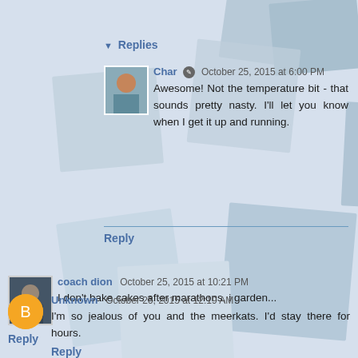Replies
Char  October 25, 2015 at 6:00 PM
Awesome! Not the temperature bit - that sounds pretty nasty. I'll let you know when I get it up and running.
Reply
coach dion  October 25, 2015 at 10:21 PM
I don't bake cakes after marathons, i garden...
Reply
Unknown  October 26, 2015 at 12:19 AM
I'm so jealous of you and the meerkats. I'd stay there for hours.
Reply